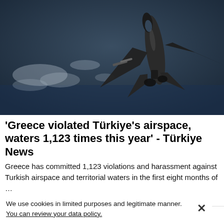[Figure (photo): Military fighter jet viewed from below/behind, flying over ocean with clouds visible, dark blue-grey sky background]
'Greece violated Türkiye's airspace, waters 1,123 times this year' - Türkiye News
Greece has committed 1,123 violations and harassment against Turkish airspace and territorial waters in the first eight months of …
Hurriyet Daily News
We use cookies in limited purposes and legitimate manner. You can review your data policy.